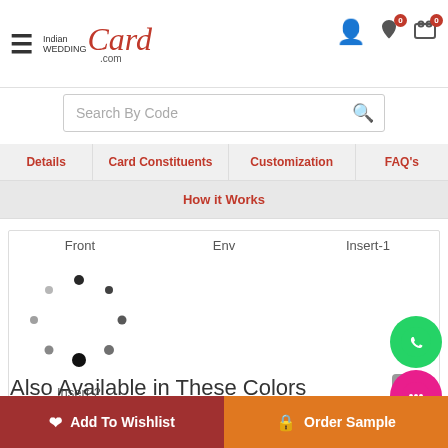IndianWeddingCard.com
Search By Code
Details | Card Constituents | Customization | FAQ's | How it Works
Front   Env   Insert-1
[Figure (illustration): Loading spinner animation dots]
Insert-2
Also Available in These Colors
Add To Wishlist   Order Sample